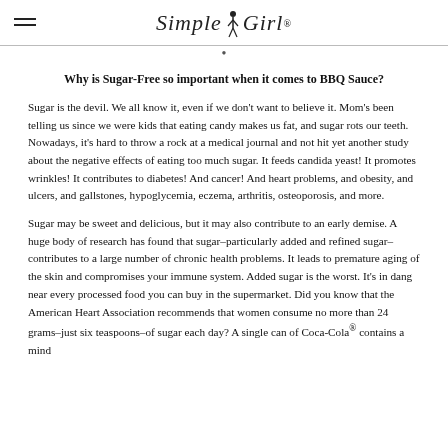Simple Girl®
Why is Sugar-Free so important when it comes to BBQ Sauce?
Sugar is the devil. We all know it, even if we don't want to believe it. Mom's been telling us since we were kids that eating candy makes us fat, and sugar rots our teeth. Nowadays, it's hard to throw a rock at a medical journal and not hit yet another study about the negative effects of eating too much sugar. It feeds candida yeast! It promotes wrinkles! It contributes to diabetes! And cancer! And heart problems, and obesity, and ulcers, and gallstones, hypoglycemia, eczema, arthritis, osteoporosis, and more.
Sugar may be sweet and delicious, but it may also contribute to an early demise. A huge body of research has found that sugar–particularly added and refined sugar–contributes to a large number of chronic health problems. It leads to premature aging of the skin and compromises your immune system. Added sugar is the worst. It's in dang near every processed food you can buy in the supermarket. Did you know that the American Heart Association recommends that women consume no more than 24 grams–just six teaspoons–of sugar each day? A single can of Coca-Cola® contains a mind